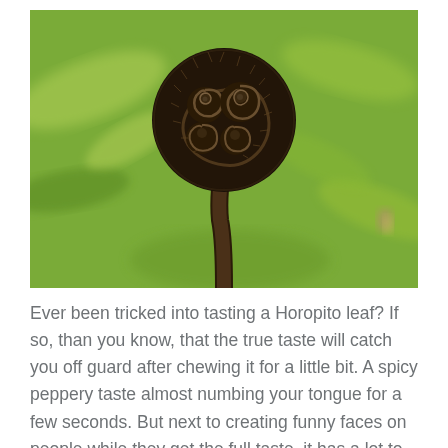[Figure (photo): Close-up photograph of a fern fiddlehead (koru) — a tightly coiled, dark brown hairy frond with spiral patterns of smaller coils, set against a blurred green leafy background. The fiddlehead is curled at the top and the stem extends downward, covered in fine dark hairs.]
Ever been tricked into tasting a Horopito leaf? If so, than you know, that the true taste will catch you off guard after chewing it for a little bit. A spicy peppery taste almost numbing your tongue for a few seconds. But next to creating funny faces on people while they get the full taste, it has a lot to offer